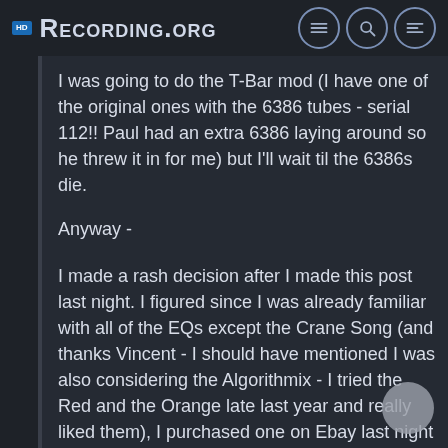Recording.org
I was going to do the T-Bar mod (I have one of the original ones with the 6386 tubes - serial 112!! Paul had an extra 6386 laying around so he threw it in for me) but I'll wait til the 6386s die.
Anyway -
I made a rash decision after I made this post last night. I figured since I was already familiar with all of the EQs except the Crane Song (and thanks Vincent - I should have mentioned I was also considering the Algorithmix - I tried the Red and the Orange late last year and really liked them), I purchased one on Ebay last night about